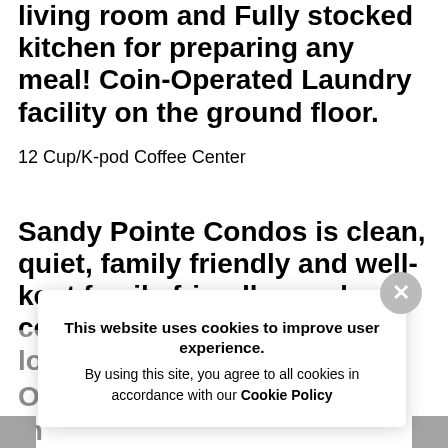living room and Fully stocked kitchen for preparing any meal! Coin-Operated Laundry facility on the ground floor.
12 Cup/K-pod Coffee Center
Sandy Pointe Condos is clean, quiet, family friendly and well-kept family friendly condo complex that is centrally located on beautiful O[...] m[...]
This website uses cookies to improve user experience. By using this site, you agree to all cookies in accordance with our Cookie Policy